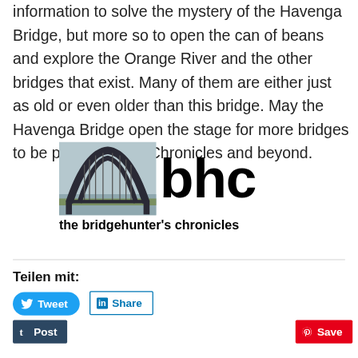information to solve the mystery of the Havenga Bridge, but more so to open the can of beans and explore the Orange River and the other bridges that exist. Many of them are either just as old or even older than this bridge. May the Havenga Bridge open the stage for more bridges to be profiled in the Chronicles and beyond.
[Figure (logo): BHC logo: photo of an arch bridge on left, large bold text 'bhc' on right, subtitle 'the bridgehunter's chronicles' below]
Teilen mit:
[Figure (other): Social share buttons: Tweet (Twitter/blue rounded), Share (LinkedIn/outlined), Post (Tumblr/dark navy), Save (Pinterest/red)]